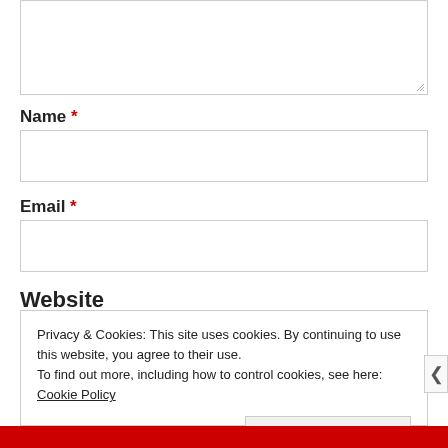[Figure (screenshot): Top portion of a web form showing a textarea (comment/message input box) with a resize handle at the bottom-right corner.]
Name *
[Figure (screenshot): Name input text field, empty, with a light grey border.]
Email *
[Figure (screenshot): Email input text field, empty, with a light grey border.]
Website
Privacy & Cookies: This site uses cookies. By continuing to use this website, you agree to their use.
To find out more, including how to control cookies, see here: Cookie Policy
Close and accept